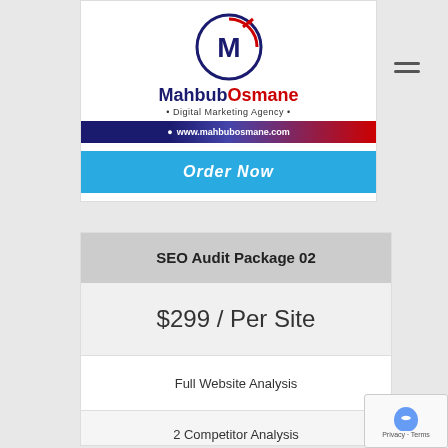[Figure (logo): MahbubOsmane Digital Marketing Agency logo with circular M icon and red arrow]
www.mahbubosmane.com
Order Now
SEO Audit Package 02
$299 / Per Site
Full Website Analysis
2 Competitor Analysis